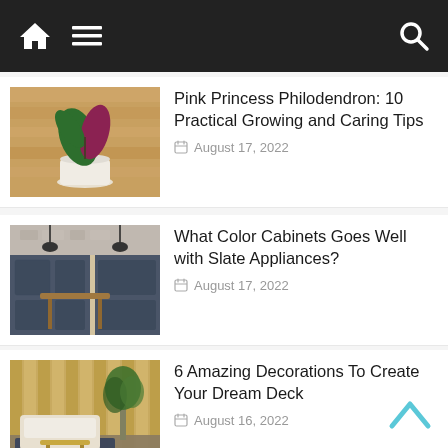Navigation bar with home icon, menu icon, and search icon
[Figure (photo): Pink Princess Philodendron plant in white pot against wooden background]
Pink Princess Philodendron: 10 Practical Growing and Caring Tips
August 17, 2022
[Figure (photo): Kitchen with dark slate-colored cabinets, pendant lights, and wooden dining table]
What Color Cabinets Goes Well with Slate Appliances?
August 17, 2022
[Figure (photo): Outdoor deck with wicker sofa, coffee table, potted plants, and bamboo fence]
6 Amazing Decorations To Create Your Dream Deck
August 16, 2022